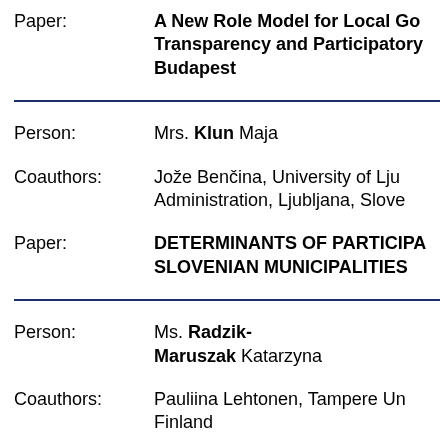| Label | Content |
| --- | --- |
| Paper: | A New Role Model for Local Go… Transparency and Participatory… Budapest |
| Person: | Mrs. Klun Maja |
| Coauthors: | Jože Benčina, University of Lju… Administration, Ljubljana, Slove… |
| Paper: | DETERMINANTS OF PARTICIPA… SLOVENIAN MUNICIPALITIES |
| Person: | Ms. Radzik-Maruszak Katarzyna |
| Coauthors: | Pauliina Lehtonen, Tampere Un… Finland |
| Paper: | Inclusion as ownership in local… budgeting: PB facilitators' inte… agency of children and… |